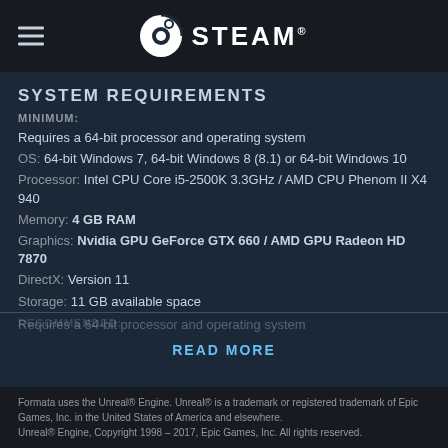STEAM
SYSTEM REQUIREMENTS
MINIMUM:
Requires a 64-bit processor and operating system
OS:  64-bit Windows 7, 64-bit Windows 8 (8.1) or 64-bit Windows 10
Processor:  Intel CPU Core i5-2500K 3.3GHz / AMD CPU Phenom II X4 940
Memory:  4 GB RAM
Graphics:  Nvidia GPU GeForce GTX 660 / AMD GPU Radeon HD 7870
DirectX:  Version 11
Storage:  11 GB available space
RECOMMENDED:
Requires a 64-bit processor and operating system
READ MORE
Formata uses the Unreal® Engine. Unreal® is a trademark or registered trademark of Epic Games, Inc. in the United States of America and elsewhere. Unreal® Engine, Copyright 1998 – 2017, Epic Games, Inc. All rights reserved.